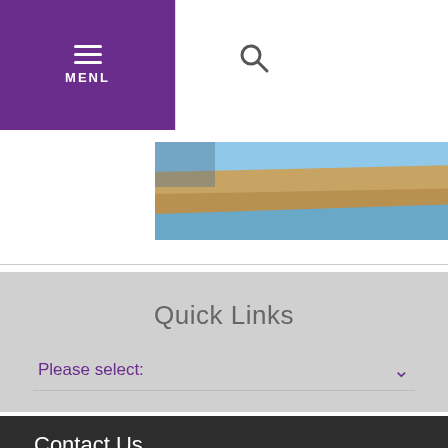MENU navigation header with search icon
[Figure (photo): Two photos side by side: left photo shows a boat or vehicle detail with wooden trim, blue sky and water reflections; right photo shows a person holding documents outdoors]
Quick Links
Please select:
Contact Us